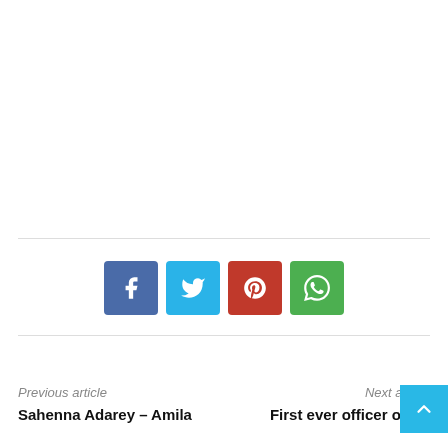[Figure (other): Social share buttons: Facebook (blue), Twitter (light blue), Pinterest (red), WhatsApp (green)]
Previous article
Sahenna Adarey – Amila
Next article
First ever officer of Sri